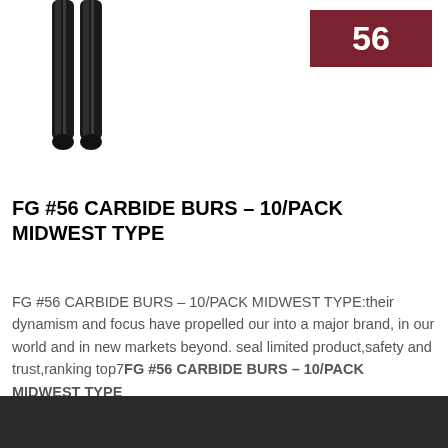[Figure (photo): Photo of two carbide dental bur instruments with dark metallic shanks, viewed from above, partially cropped at top.]
[Figure (other): Dark red/maroon rectangular badge with white bold number '56'.]
FG #56 CARBIDE BURS – 10/PACK MIDWEST TYPE
FG #56 CARBIDE BURS – 10/PACK MIDWEST TYPE:their dynamism and focus have propelled our into a major brand, in our world and in new markets beyond. seal limited product,safety and trust,ranking top7FG #56 CARBIDE BURS – 10/PACK MIDWEST TYPE
[Figure (photo): Dark gray/black background strip at the bottom of the page.]